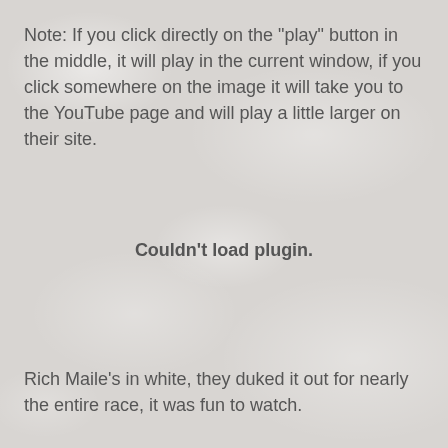Note: If you click directly on the "play" button in the middle, it will play in the current window, if you click somewhere on the image it will take you to the YouTube page and will play a little larger on their site.
[Figure (other): Embedded media plugin area showing 'Couldn't load plugin.' message over a textured stone/paper background]
Rich Maile's in white, they duked it out for nearly the entire race, it was fun to watch.